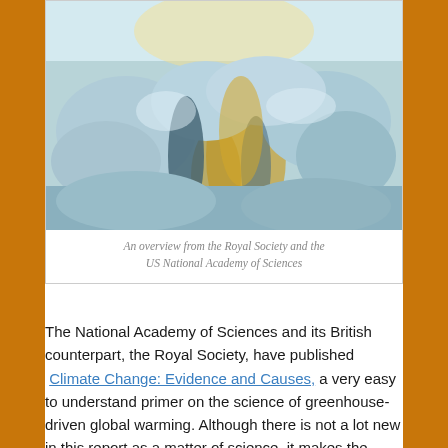[Figure (photo): Aerial or close-up photograph of melting sea ice and meltwater pools, blue and white ice chunks with golden sunlight reflecting on water channels, part of the Climate Change: Evidence and Causes report cover by the Royal Society and US National Academy of Sciences]
An overview from the Royal Society and the US National Academy of Sciences
The National Academy of Sciences and its British counterpart, the Royal Society, have published Climate Change: Evidence and Causes, a very easy to understand primer on the science of greenhouse-driven global warming. Although there is not a lot new in this report as a matter of science, it makes the strong scientific consensus on human-induced climate change that has existed for some time clearer and more accessible for non-scientists particularly on the major issues that need to